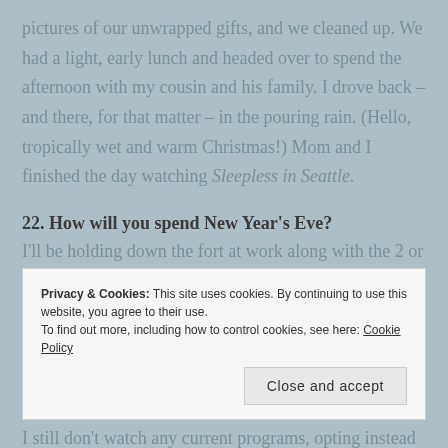pictures of our unwrapped gifts, and we cleaned up. We had a light, early lunch and headed over to spend the afternoon with my cousin and his family. I drove back – and there, for that matter – in the pouring rain. (Hello, tropically wet and warm Christmas!) Mom and I finished the day watching Sleepless in Seattle.
22. How will you spend New Year's Eve?
I'll be holding down the fort at work along with the 2 or 3 other people who are not on vacation. Later at home, the fam and I will probably watch DVDs, and then ring the new year in as we typically do: sleeping. (At least, we'll
Privacy & Cookies: This site uses cookies. By continuing to use this website, you agree to their use.
To find out more, including how to control cookies, see here: Cookie Policy
Close and accept
I still don't watch any current programs, opting instead